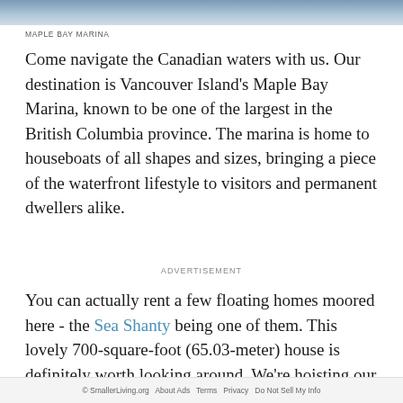[Figure (photo): Top image strip showing boats/marina scene at Maple Bay Marina]
MAPLE BAY MARINA
Come navigate the Canadian waters with us. Our destination is Vancouver Island's Maple Bay Marina, known to be one of the largest in the British Columbia province. The marina is home to houseboats of all shapes and sizes, bringing a piece of the waterfront lifestyle to visitors and permanent dwellers alike.
ADVERTISEMENT
You can actually rent a few floating homes moored here - the Sea Shanty being one of them. This lovely 700-square-foot (65.03-meter) house is definitely worth looking around. We're hoisting our sails right here - won't you join us along?
© SmallerLiving.org   About Ads   Terms   Privacy   Do Not Sell My Info